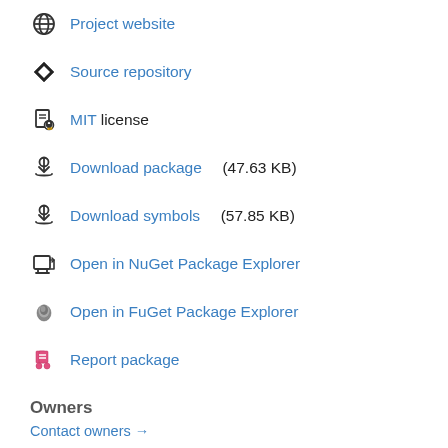Project website
Source repository
MIT license
Download package  (47.63 KB)
Download symbols  (57.85 KB)
Open in NuGet Package Explorer
Open in FuGet Package Explorer
Report package
Owners
Contact owners →
Autofac